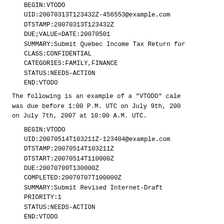BEGIN:VTODO
UID:20070313T123432Z-456553@example.com
DTSTAMP:20070313T123432Z
DUE;VALUE=DATE:20070501
SUMMARY:Submit Quebec Income Tax Return for
CLASS:CONFIDENTIAL
CATEGORIES:FAMILY,FINANCE
STATUS:NEEDS-ACTION
END:VTODO
The following is an example of a "VTODO" cale was due before 1:00 P.M. UTC on July 9th, 200 on July 7th, 2007 at 10:00 A.M. UTC.
BEGIN:VTODO
UID:20070514T103211Z-123404@example.com
DTSTAMP:20070514T103211Z
DTSTART:20070514T110000Z
DUE:20070709T130000Z
COMPLETED:20070707T100000Z
SUMMARY:Submit Revised Internet-Draft
PRIORITY:1
STATUS:NEEDS-ACTION
END:VTODO
3.6.3.  Journal Component